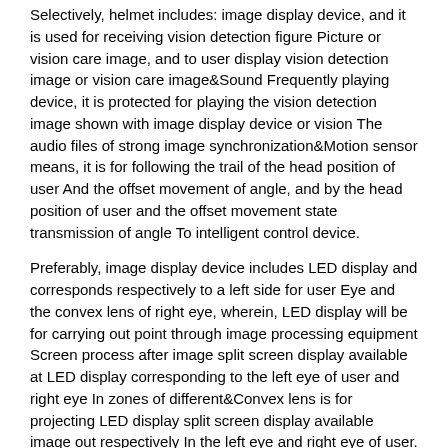Selectively, helmet includes: image display device, and it is used for receiving vision detection figure Picture or vision care image, and to user display vision detection image or vision care image&Sound Frequently playing device, it is protected for playing the vision detection image shown with image display device or vision The audio files of strong image synchronization&Motion sensor means, it is for following the trail of the head position of user And the offset movement of angle, and by the head position of user and the offset movement state transmission of angle To intelligent control device.
Preferably, image display device includes LED display and corresponds respectively to a left side for user Eye and the convex lens of right eye, wherein, LED display will be for carrying out point through image processing equipment Screen process after image split screen display available at LED display corresponding to the left eye of user and right eye In zones of different&Convex lens is for projecting LED display split screen display available image out respectively In the left eye and right eye of user.
Preferably, the reality screen that LED display selects resolution to be 1920 x 1080, correspond to The pixel